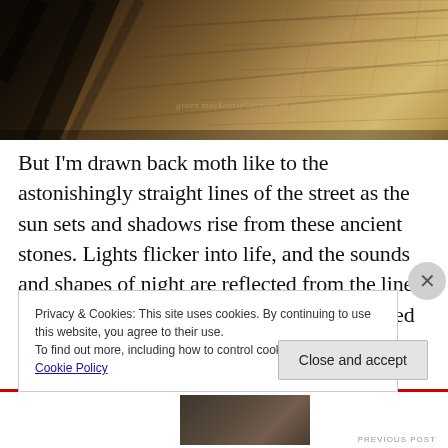[Figure (photo): Sepia-toned photo of ancient cobblestone street with dramatic shadows and straight lines, watermarked with 'green mackenzie©breath of green air©']
But I'm drawn back moth like to the astonishingly straight lines of the street as the sun sets and shadows rise from these ancient stones. Lights flicker into life, and the sounds and shapes of night are reflected from the lines and patterns of old Dubrovnik. It has captured my heart
Privacy & Cookies: This site uses cookies. By continuing to use this website, you agree to their use.
To find out more, including how to control cookies, see here: Cookie Policy